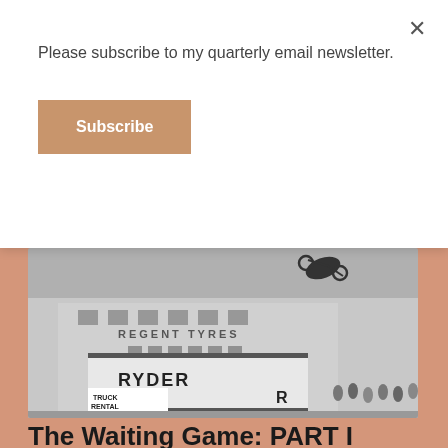Please subscribe to my quarterly email newsletter.
Subscribe
[Figure (photo): Black and white photograph of a motorcycle mid-air jump over vehicles including a Ryder truck, with a building labeled 'REGENT TYRES' in the background and a crowd of spectators watching.]
The Waiting Game: PART I
APRIL 19, 2019 / LEAVE A COMMENT
Attributed to Marcus Gheereart the Younger , Portrait of a Lady in late 16th century Elizabethan England. (Roughly 1550 to 1600) from Tate.org.uk. [Public